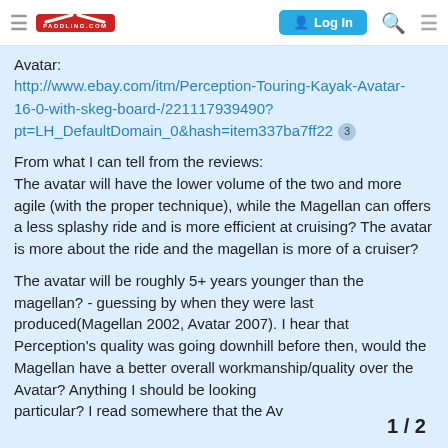PADDLING.COM | Log In
Avatar:
http://www.ebay.com/itm/Perception-Touring-Kayak-Avatar-16-0-with-skeg-board-/221117939490?pt=LH_DefaultDomain_0&hash=item337ba7ff22  3
From what I can tell from the reviews:
The avatar will have the lower volume of the two and more agile (with the proper technique), while the Magellan can offers a less splashy ride and is more efficient at cruising? The avatar is more about the ride and the magellan is more of a cruiser?
The avatar will be roughly 5+ years younger than the magellan? - guessing by when they were last produced(Magellan 2002, Avatar 2007). I hear that Perception's quality was going downhill before then, would the Magellan have a better overall workmanship/quality over the Avatar? Anything I should be looking particular? I read somewhere that the Av
1 / 2